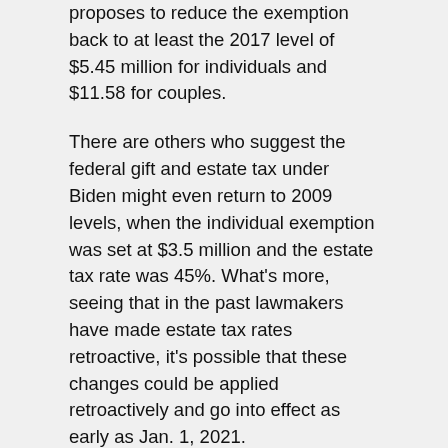proposes to reduce the exemption back to at least the 2017 level of $5.45 million for individuals and $11.58 for couples.
There are others who suggest the federal gift and estate tax under Biden might even return to 2009 levels, when the individual exemption was set at $3.5 million and the estate tax rate was 45%. What's more, seeing that in the past lawmakers have made estate tax rates retroactive, it's possible that these changes could be applied retroactively and go into effect as early as Jan. 1, 2021.